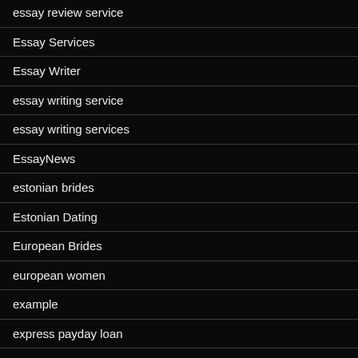essay review service
Essay Services
Essay Writer
essay writing service
essay writing services
EssayNews
estonian brides
Estonian Dating
European Brides
european women
example
express payday loan
Eye of Hours kostenlos spielen